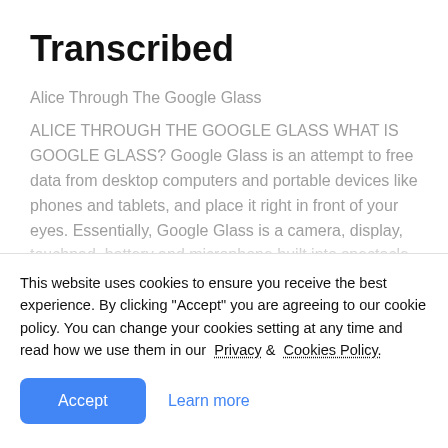Transcribed
Alice Through The Google Glass
ALICE THROUGH THE GOOGLE GLASS WHAT IS GOOGLE GLASS? Google Glass is an attempt to free data from desktop computers and portable devices like phones and tablets, and place it right in front of your eyes. Essentially, Google Glass is a camera, display, touchpad, battery and microphone built into spectacle frames so that you can perch a display in
This website uses cookies to ensure you receive the best experience. By clicking "Accept" you are agreeing to our cookie policy. You can change your cookies setting at any time and read how we use them in our  Privacy &  Cookies Policy.
Accept   Learn more